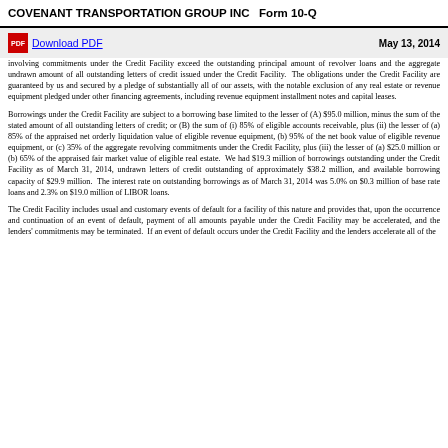COVENANT TRANSPORTATION GROUP INC   Form 10-Q
involving commitments under the Credit Facility exceed the outstanding principal amount of revolver loans and the aggregate undrawn amount of all outstanding letters of credit issued under the Credit Facility.  The obligations under the Credit Facility are guaranteed by us and secured by a pledge of substantially all of our assets, with the notable exclusion of any real estate or revenue equipment pledged under other financing agreements, including revenue equipment installment notes and capital leases.
Borrowings under the Credit Facility are subject to a borrowing base limited to the lesser of (A) $95.0 million, minus the sum of the stated amount of all outstanding letters of credit; or (B) the sum of (i) 85% of eligible accounts receivable, plus (ii) the lesser of (a) 85% of the appraised net orderly liquidation value of eligible revenue equipment, (b) 95% of the net book value of eligible revenue equipment, or (c) 35% of the aggregate revolving commitments under the Credit Facility, plus (iii) the lesser of (a) $25.0 million or (b) 65% of the appraised fair market value of eligible real estate.  We had $19.3 million of borrowings outstanding under the Credit Facility as of March 31, 2014, undrawn letters of credit outstanding of approximately $38.2 million, and available borrowing capacity of $29.9 million.  The interest rate on outstanding borrowings as of March 31, 2014 was 5.0% on $0.3 million of base rate loans and 2.3% on $19.0 million of LIBOR loans.
The Credit Facility includes usual and customary events of default for a facility of this nature and provides that, upon the occurrence and continuation of an event of default, payment of all amounts payable under the Credit Facility may be accelerated, and the lenders' commitments may be terminated.  If an event of default occurs under the Credit Facility and the lenders accelerate all of the